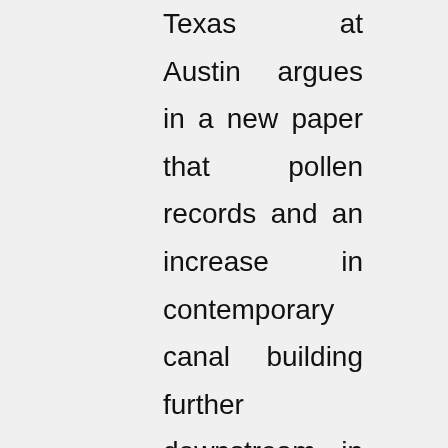Texas at Austin argues in a new paper that pollen records and an increase in contemporary canal building further downstream in the lower Euphrates valley (implying an increase in available water) mean "it is implausible that the